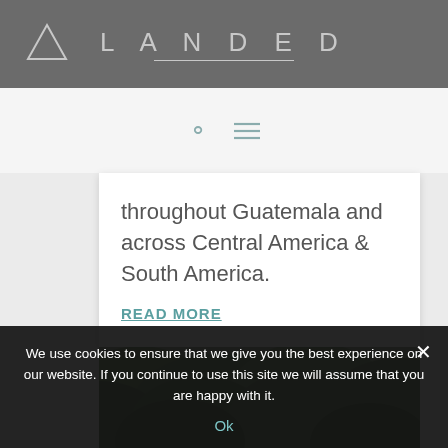LANDED
throughout Guatemala and across Central America & South America.
READ MORE
[Figure (photo): Aerial view of dense green forest canopy with blurred background]
We use cookies to ensure that we give you the best experience on our website. If you continue to use this site we will assume that you are happy with it.
Ok